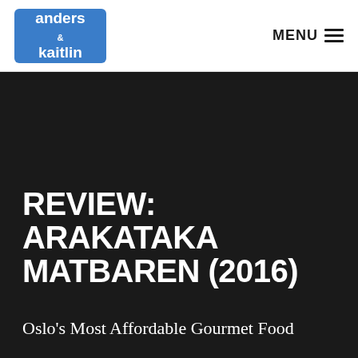anders & kaitlin | MENU
REVIEW: ARAKATAKA MATBAREN (2016)
Oslo's Most Affordable Gourmet Food